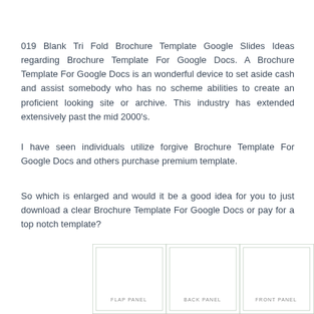019 Blank Tri Fold Brochure Template Google Slides Ideas regarding Brochure Template For Google Docs. A Brochure Template For Google Docs is an wonderful device to set aside cash and assist somebody who has no scheme abilities to create an proficient looking site or archive. This industry has extended extensively past the mid 2000's.
I have seen individuals utilize forgive Brochure Template For Google Docs and others purchase premium template.
So which is enlarged and would it be a good idea for you to just download a clear Brochure Template For Google Docs or pay for a top notch template?
[Figure (other): A tri-fold brochure template diagram showing three panels labeled FLAP PANEL, BACK PANEL, and FRONT PANEL arranged side by side with borders.]